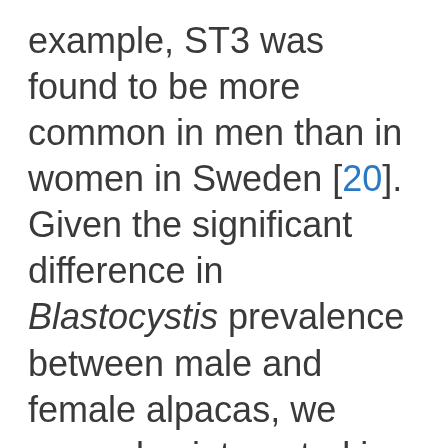example, ST3 was found to be more common in men than in women in Sweden [20]. Given the significant difference in Blastocystis prevalence between male and female alpacas, we were also interested in testing whether there were any gender differences in the occurrence of ST5, ST10, and ST14. However, no